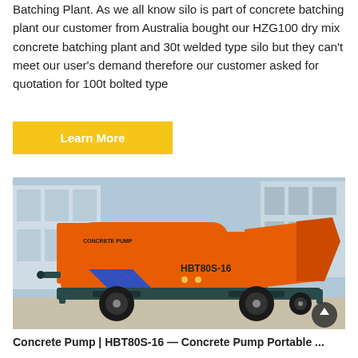Batching Plant. As we all know silo is part of concrete batching plant our customer from Australia bought our HZG100 dry mix concrete batching plant and 30t welded type silo but they can't meet our user's demand therefore our customer asked for quotation for 100t bolted type
Learn More
[Figure (photo): Orange concrete pump truck labeled CONCRETE PUMP and HBT80S-16 with blue chevron stripes, parked on a concrete surface in front of a building. The machine has large wheels and an orange hopper on the rear.]
Concrete Pump | HBT80S-16 — Concrete Pump Portable ...